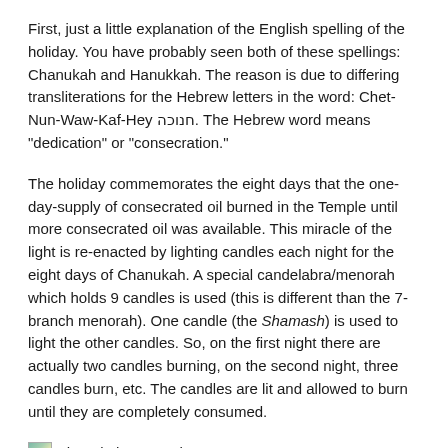First, just a little explanation of the English spelling of the holiday. You have probably seen both of these spellings: Chanukah and Hanukkah. The reason is due to differing transliterations for the Hebrew letters in the word: Chet-Nun-Waw-Kaf-Hey חנוכה. The Hebrew word means "dedication" or "consecration."
The holiday commemorates the eight days that the one-day-supply of consecrated oil burned in the Temple until more consecrated oil was available. This miracle of the light is re-enacted by lighting candles each night for the eight days of Chanukah. A special candelabra/menorah which holds 9 candles is used (this is different than the 7-branch menorah). One candle (the Shamash) is used to light the other candles. So, on the first night there are actually two candles burning, on the second night, three candles burn, etc. The candles are lit and allowed to burn until they are completely consumed.
[Figure (photo): Small thumbnail image placeholder for Chanukah Menorah photo]
Chanukah Menorah